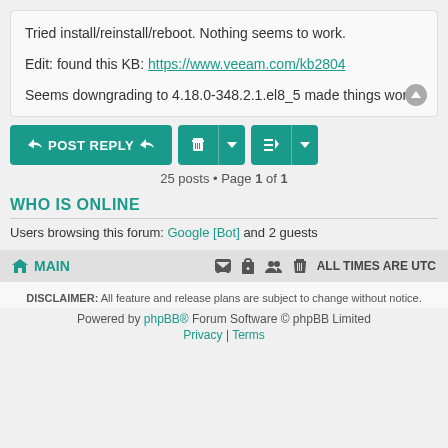Tried install/reinstall/reboot. Nothing seems to work.

Edit: found this KB: https://www.veeam.com/kb2804

Seems downgrading to 4.18.0-348.2.1.el8_5 made things work.
25 posts • Page 1 of 1
WHO IS ONLINE
Users browsing this forum: Google [Bot] and 2 guests
MAIN | ALL TIMES ARE UTC
DISCLAIMER: All feature and release plans are subject to change without notice.
Powered by phpBB® Forum Software © phpBB Limited
Privacy | Terms